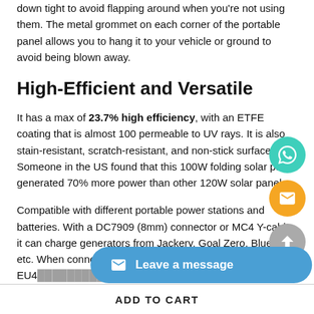down tight to avoid flapping around when you're not using them. The metal grommet on each corner of the portable panel allows you to hang it to your vehicle or ground to avoid being blown away.
High-Efficient and Versatile
It has a max of 23.7% high efficiency, with an ETFE coating that is almost 100 permeable to UV rays. It is also stain-resistant, scratch-resistant, and non-stick surface. Someone in the US found that this 100W folding solar panel generated 70% more power than other 120W solar panels.
Compatible with different portable power stations and batteries. With a DC7909 (8mm) connector or MC4 Y-cable, it can charge generators from Jackery, Goal Zero, Bluetti, etc. When connecting the XTAR EU4... laptops,
[Figure (other): Three floating action buttons: WhatsApp (teal), Email (orange), Scroll-up (gray)]
[Figure (other): Leave a message button (blue pill shape with envelope icon)]
ADD TO CART